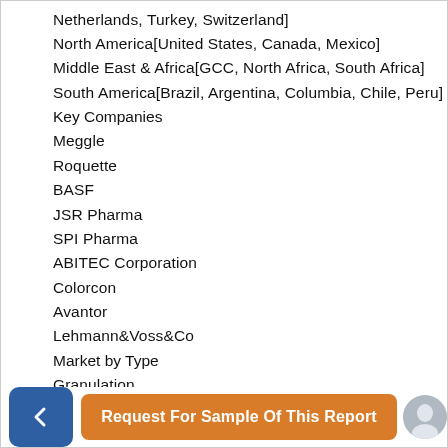Netherlands, Turkey, Switzerland]
North America[United States, Canada, Mexico]
Middle East & Africa[GCC, North Africa, South Africa]
South America[Brazil, Argentina, Columbia, Chile, Peru]
Key Companies
Meggle
Roquette
BASF
JSR Pharma
SPI Pharma
ABITEC Corporation
Colorcon
Avantor
Lehmann&Voss&Co
Market by Type
Granulation
Spray Drying
Hot Melt Extrusion
Others
Market by Application